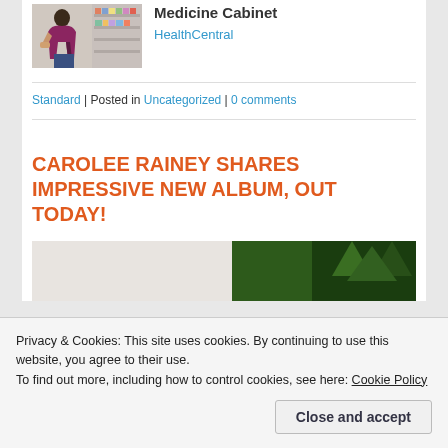[Figure (photo): Woman crouching in a store aisle looking at products on shelves]
Medicine Cabinet
HealthCentral
Standard | Posted in Uncategorized | 0 comments
CAROLEE RAINEY SHARES IMPRESSIVE NEW ALBUM, OUT TODAY!
[Figure (photo): Partial view of outdoor scene with trees]
Privacy & Cookies: This site uses cookies. By continuing to use this website, you agree to their use.
To find out more, including how to control cookies, see here: Cookie Policy
Close and accept